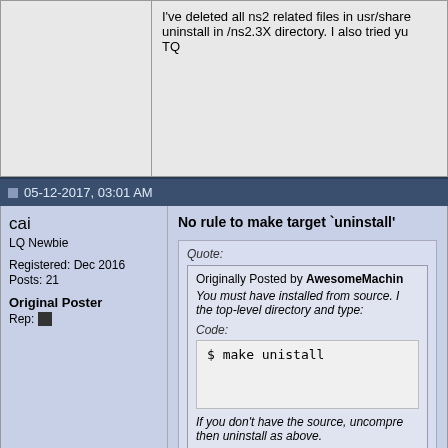I've deleted all ns2 related files in usr/share uninstall in /ns2.3X directory. I also tried yu TQ
05-12-2017, 03:01 AM
cai
LQ Newbie
Registered: Dec 2016
Posts: 21
Original Poster
Rep:
No rule to make target `uninstall'
Quote:
Originally Posted by AwesomeMachin
You must have installed from source. I the top-level directory and type:
Code:
$ make unistall
If you don't have the source, uncompre then uninstall as above.
I've done what you suggested but I got this
make: *** No rule to make target `uninstall'
What should I do next?